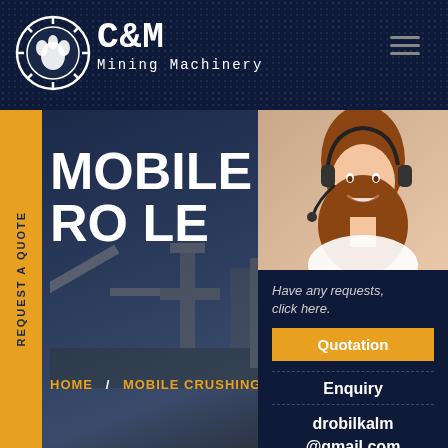[Figure (logo): C&M Mining Machinery logo with circular gear/claw icon and text]
MOBILE CRUSHING PRO LE
HOME / MOBILE CRUSHING PR...
REQUEST A QUOTE
[Figure (photo): Customer service woman wearing headset, smiling]
Have any requests, click here.
Quotation
Enquiry
drobilkalm@gmail.com